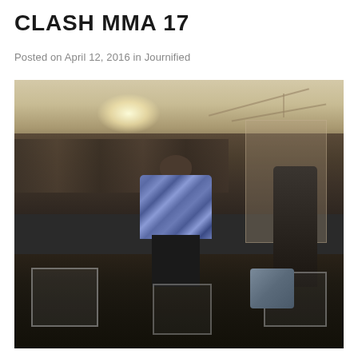CLASH MMA 17
Posted on April 12, 2016 in Journified
[Figure (photo): Indoor MMA event photo showing a crowded venue with a man in a plaid shirt standing with his back to camera, an octagon cage fence visible on the right, spectators seated and standing, industrial ceiling with rafters and lights overhead, folding chairs in the foreground.]